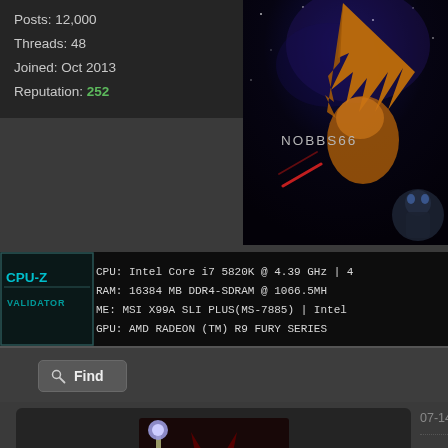Posts: 12,000
Threads: 48
Joined: Oct 2013
Reputation: 252
[Figure (illustration): Fantasy/anime character artwork with dark cosmic background, character named NOBBS66]
[Figure (screenshot): CPU-Z validator bar showing: CPU: Intel Core i7 5820K @ 4.39 GHz, RAM: 16384 MB DDR4-SDRAM @ 1066.5MHz, ME: MSI X99A SLI PLUS(MS-7885) | Intel, GPU: AMD RADEON (TM) R9 FURY SERIES]
Find
07-14-2014, 08:52 AM (This post was last modified: 07-
[Figure (illustration): Red dragon avatar for user Topken]
Topken
Posting Freak
★★★★
Posts: 1.362
Threads: 14
Joined: Feb 2009
Reputation: 36
I agree with Tony about expanding the temp- wants to add theirs to the list.

Not saying we should allow everyone to add- something like 10 and expand it later if nee- good idea on what sort of system some of t- issues like the current NVIDIA stable drivers- issue as well.